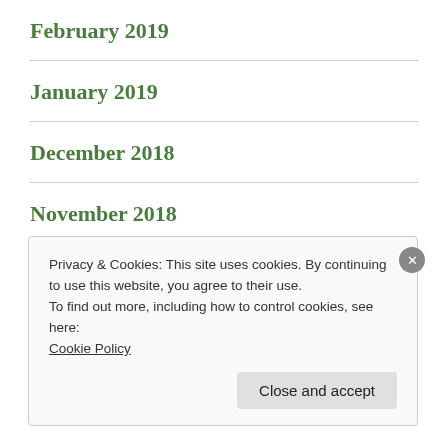February 2019
January 2019
December 2018
November 2018
October 2018
September 2018
Privacy & Cookies: This site uses cookies. By continuing to use this website, you agree to their use.
To find out more, including how to control cookies, see here:
Cookie Policy
Close and accept